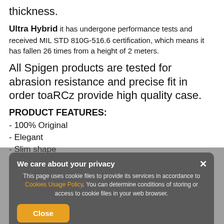thickness.
Ultra Hybrid it has undergone performance tests and received MIL STD 810G-516.6 certification, which means it has fallen 26 times from a height of 2 meters.
All Spigen products are tested for abrasion resistance and precise fit in order toaRCz provide high quality case.
PRODUCT FEATURES:
- 100% Original
- Elegant
- Slim shape
- Precision crafted
We care about your privacy
This page uses cookie files to provide its services in accordance to Cookies Usage Policy. You can determine conditions of storing or access to cookie files in your web browser.
GET INCLUDES